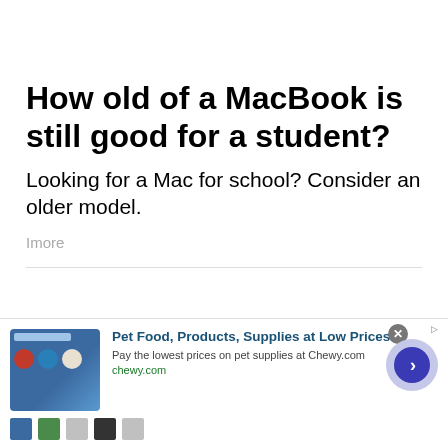How old of a MacBook is still good for a student?
Looking for a Mac for school? Consider an older model.
Imore
[Figure (other): Advertisement banner for Chewy.com pet food and supplies, showing pet product images, headline 'Pet Food, Products, Supplies at Low Prices -', body text 'Pay the lowest prices on pet supplies at Chewy.com', URL 'chewy.com', with a circular navigation arrow button and a close button.]